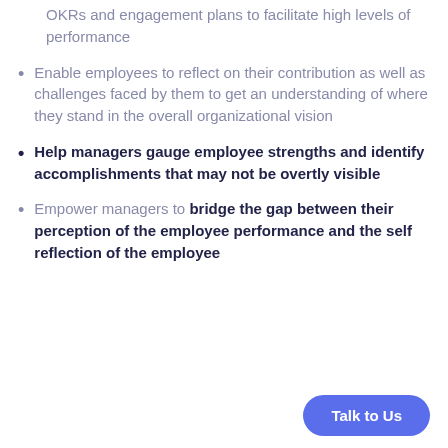OKRs and engagement plans to facilitate high levels of performance
Enable employees to reflect on their contribution as well as challenges faced by them to get an understanding of where they stand in the overall organizational vision
Help managers gauge employee strengths and identify accomplishments that may not be overtly visible
Empower managers to bridge the gap between their perception of the employee performance and the self reflection of the employee